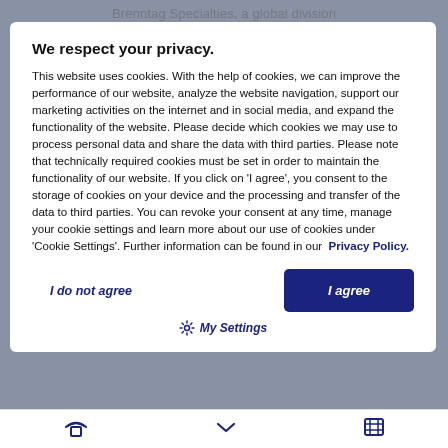Brenntag Specialties, a global division
We respect your privacy.
This website uses cookies. With the help of cookies, we can improve the performance of our website, analyze the website navigation, support our marketing activities on the internet and in social media, and expand the functionality of the website. Please decide which cookies we may use to process personal data and share the data with third parties. Please note that technically required cookies must be set in order to maintain the functionality of our website. If you click on 'I agree', you consent to the storage of cookies on your device and the processing and transfer of the data to third parties. You can revoke your consent at any time, manage your cookie settings and learn more about our use of cookies under 'Cookie Settings'. Further information can be found in our  Privacy Policy.
I do not agree
I agree
My Settings